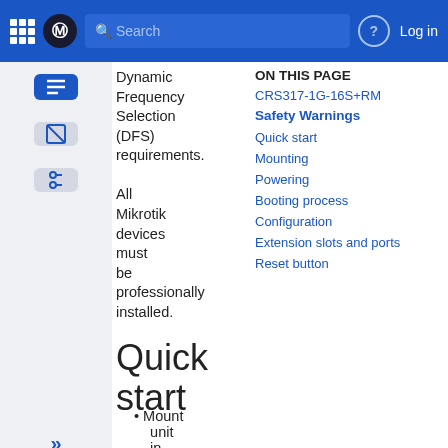MikroTik Search | Log in
Dynamic Frequency Selection (DFS) requirements. All Mikrotik devices must be professionally installed.
ON THIS PAGE
CRS317-1G-16S+RM
Safety Warnings
Quick start
Mounting
Powering
Booting process
Configuration
Extension slots and ports
Reset button
Quick start
Mount unit in a